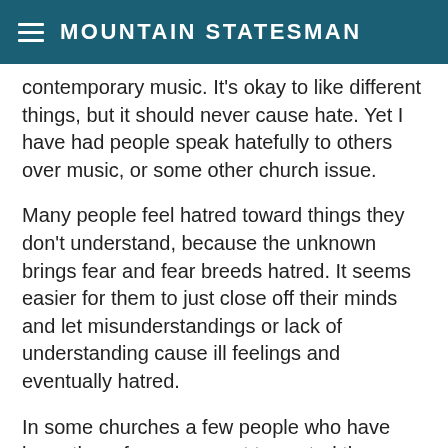MOUNTAIN STATESMAN
contemporary music.  It's okay to like different things, but it should never cause hate. Yet I have had people speak hatefully to others over music, or some other church issue.
Many people feel hatred toward things they don't understand, because the unknown brings fear and fear breeds hatred.  It seems easier for them to just close off their minds and let misunderstandings or lack of understanding cause ill feelings and eventually hatred.
In some churches a few people who have been there for years want to control the church.  They hate the pastor, they don't even want new people to come in because that might threaten their power of being in charge.  How do they keep them